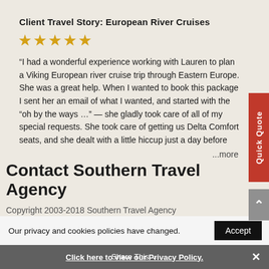Client Travel Story: European River Cruises
[Figure (other): 5 gold stars rating]
“I had a wonderful experience working with Lauren to plan a Viking European river cruise trip through Eastern Europe. She was a great help. When I wanted to book this package I sent her an email of what I wanted, and started with the “oh by the ways …” — she gladly took care of all of my special requests. She took care of getting us Delta Comfort seats, and she dealt with a little hiccup just a day before
...more
Gordon Meek
Contact Southern Travel Agency
Copyright 2003-2018 Southern Travel Agency
Our privacy and cookies policies have changed.
Click here to view our Privacy Policy.
Share This